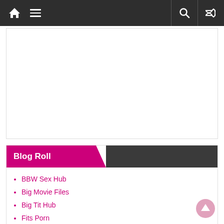Navigation bar with home, menu, search, and shuffle icons
[Figure (other): White content area / advertisement placeholder]
Blog Roll
BBW Sex Hub
Big Movie Files
Big Tit Hub
Fits Porn
Granny Hub
Porn Out Laws
Reality Kings Hub